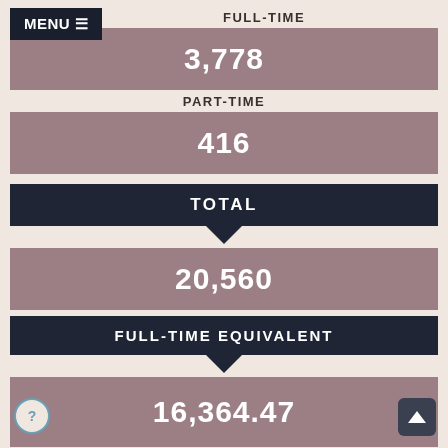MENU ☰
FULL-TIME
3,778
PART-TIME
416
TOTAL
20,560
FULL-TIME EQUIVALENT
16,364.47